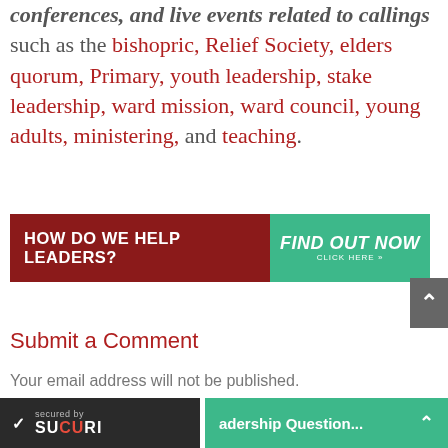conferences, and live events related to callings such as the bishopric, Relief Society, elders quorum, Primary, youth leadership, stake leadership, ward mission, ward council, young adults, ministering, and teaching.
[Figure (infographic): Banner with dark red left section reading 'HOW DO WE HELP LEADERS?' and green right section reading 'FIND OUT NOW CLICK HERE >>']
Submit a Comment
Your email address will not be published.
secured by SUCURI | adership Question...